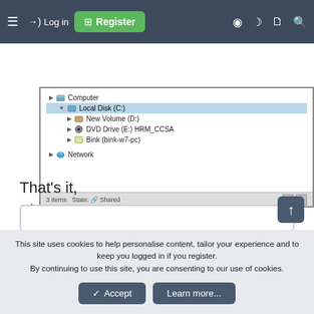Log in  Register
[Figure (screenshot): Windows Explorer file tree showing Computer > Local Disk (C:) selected, New Volume (D:), DVD Drive (E:) HRM_CCSA, Bink (bink-w7-pc), Network. Status bar shows 3 items, State: Shared.]
That's it,
Shawn
This site uses cookies to help personalise content, tailor your experience and to keep you logged in if you register.
By continuing to use this site, you are consenting to our use of cookies.